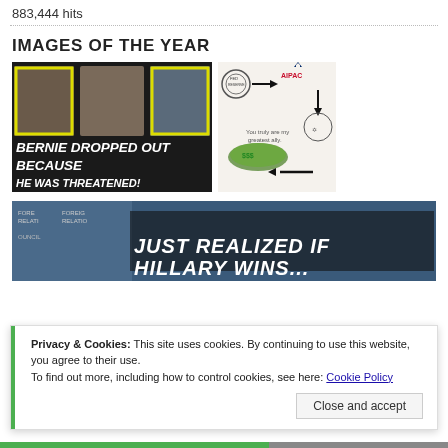883,444 hits
IMAGES OF THE YEAR
[Figure (illustration): Meme image showing Bernie Sanders, Julian Assange, and Hillary Clinton with yellow boxes around Sanders and Clinton faces, text reads BERNIE DROPPED OUT BECAUSE HE WAS THREATENED!]
[Figure (illustration): Conspiracy diagram showing Federal Reserve logo with arrow to AIPAC logo, down arrow, figures, money piles, and Star of David symbol with arrows indicating flow of money/influence]
[Figure (illustration): Bottom meme image showing Hillary Clinton laughing at a podium with text JUST REALIZED IF HILLARY WINS...]
Privacy & Cookies: This site uses cookies. By continuing to use this website, you agree to their use.
To find out more, including how to control cookies, see here: Cookie Policy
Close and accept